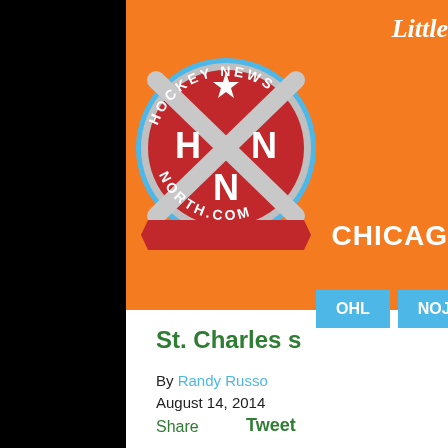[Figure (logo): Hockey News North logo on orange banner background with partial Little Caesars advertisement and food image]
OHL | NOJHL
St. Charles s
By Randy Russo
August 14, 2014
Share Tweet